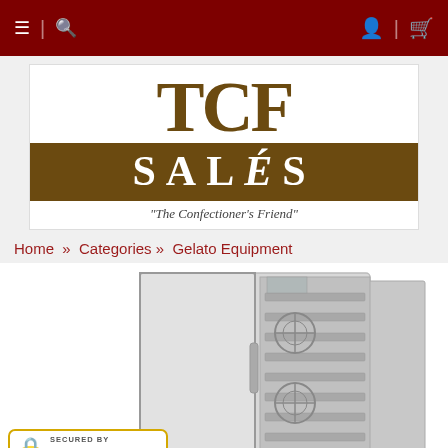TCF Sales navigation bar with menu, search, account, and cart icons
[Figure (logo): TCF Sales logo — large serif letters T C F above a brown band with SALÉS text and tagline 'The Confectioner's Friend']
Home  »  Categories »  Gelato Equipment
[Figure (photo): Stainless steel gelato blast freezer cabinet with open door showing interior fan and tray shelves]
[Figure (logo): Secured by positiveSSL badge with padlock icon]